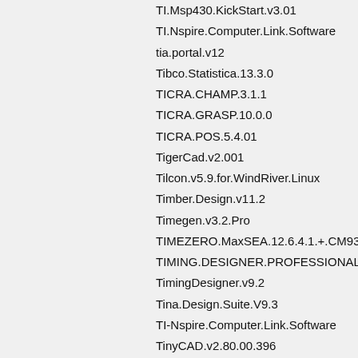TI.Msp430.KickStart.v3.01
TI.Nspire.Computer.Link.Software
tia.portal.v12
Tibco.Statistica.13.3.0
TICRA.CHAMP.3.1.1
TICRA.GRASP.10.0.0
TICRA.POS.5.4.01
TigerCad.v2.001
Tilcon.v5.9.for.WindRiver.Linux
Timber.Design.v11.2
Timegen.v3.2.Pro
TIMEZERO.MaxSEA.12.6.4.1.+.CM93.3.860
TIMING.DESIGNER.PROFESSIONAL.V5.303
TimingDesigner.v9.2
Tina.Design.Suite.V9.3
TI-Nspire.Computer.Link.Software
TinyCAD.v2.80.00.396
TMA.Foresight.3.0
TMG.solvers.for.NX.11.0-12.0
TMG.Thermal.Flow.Simulation.for.Siemens.PLM.NX.7.5
TMPGEnc.Authoring.Works.v4.0.7.32
TMS320C6000.CCS2.2
tNavigator.v17
TNflow.v3.10
TNO.Automotive.ADVISER.v1.4.2